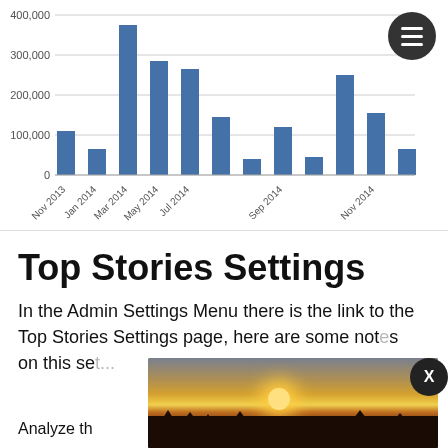[Figure (bar-chart): ]
Top Stories Settings
In the Admin Settings Menu there is the link to the Top Stories Settings page, here are some notes on this se...
Analyze th...
[Figure (photo): Sunset photo with silhouetted treeline and bright sun on horizon]